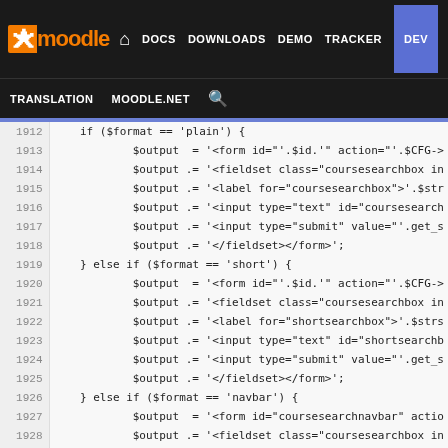[Figure (screenshot): Moodle developer documentation website navigation bar with logo, nav links (DOCS, DOWNLOADS, DEMO, TRACKER, DEV highlighted in blue), and sub-navigation (TRANSLATION, MOODLE.NET, search icon)]
Code viewer showing PHP source lines 1912-1937 from a Moodle renderer file, displaying course search box output logic with if/else if blocks for 'plain', 'short', and 'navbar' format conditions
1912    if ($format == 'plain') {
1913        $output  = '<form id="'.$id.'" action="'.$CFG->
1914        $output .= '<fieldset class="coursesearchbox in
1915        $output .= '<label for="coursesearchbox">'.$str
1916        $output .= '<input type="text" id="coursesearch
1917        $output .= '<input type="submit" value="'.get_s
1918        $output .= '</fieldset></form>';
1919    } else if ($format == 'short') {
1920        $output  = '<form id="'.$id.'" action="'.$CFG->
1921        $output .= '<fieldset class="coursesearchbox in
1922        $output .= '<label for="shortsearchbox">'.$strs
1923        $output .= '<input type="text" id="shortsearchb
1924        $output .= '<input type="submit" value="'.get_s
1925        $output .= '</fieldset></form>';
1926    } else if ($format == 'navbar') {
1927        $output  = '<form id="coursesearchnavbar" actio
1928        $output .= '<fieldset class="coursesearchbox in
1929        $output .= '<label for="navsearchbox">'.$strsea
1930        $output .= '<input type="text" id="navsearchbox
1931        $output .= '<input type="submit" value="'.get_s
1932        $output .= '</fieldset></form>';
1933    }
1934
1935    if ($return) {
1936        return $output;
1937    }